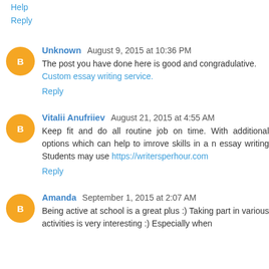Help
Reply
Unknown  August 9, 2015 at 10:36 PM
The post you have done here is good and congradulative. Custom essay writing service.
Reply
Vitalii Anufriiev  August 21, 2015 at 4:55 AM
Keep fit and do all routine job on time. With additional options which can help to imrove skills in a n essay writing Students may use https://writersperhour.com
Reply
Amanda  September 1, 2015 at 2:07 AM
Being active at school is a great plus :) Taking part in various activities is very interesting :) Especially when